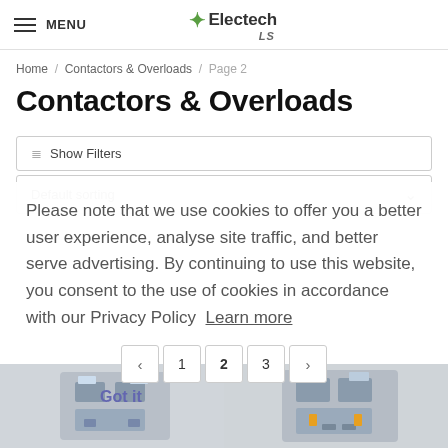MENU | Electech LS
Home / Contactors & Overloads / Page 2
Contactors & Overloads
Show Filters
Default sorting
Please note that we use cookies to offer you a better user experience, analyse site traffic, and better serve advertising. By continuing to use this website, you consent to the use of cookies in accordance with our Privacy Policy  Learn more
Got it
1  2  3
[Figure (photo): Industrial contactor device, left product image]
[Figure (photo): Industrial contactor device, right product image]